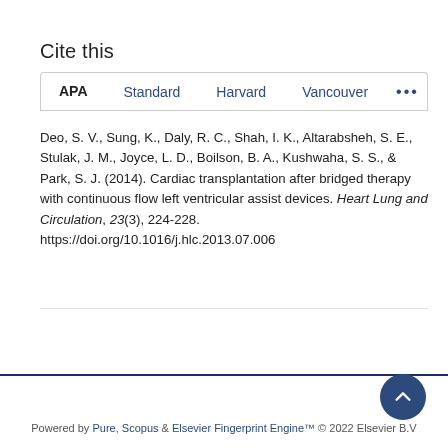Cite this
APA | Standard | Harvard | Vancouver | ...
Deo, S. V., Sung, K., Daly, R. C., Shah, I. K., Altarabsheh, S. E., Stulak, J. M., Joyce, L. D., Boilson, B. A., Kushwaha, S. S., & Park, S. J. (2014). Cardiac transplantation after bridged therapy with continuous flow left ventricular assist devices. Heart Lung and Circulation, 23(3), 224-228.
https://doi.org/10.1016/j.hlc.2013.07.006
Powered by Pure, Scopus & Elsevier Fingerprint Engine™ © 2022 Elsevier B.V